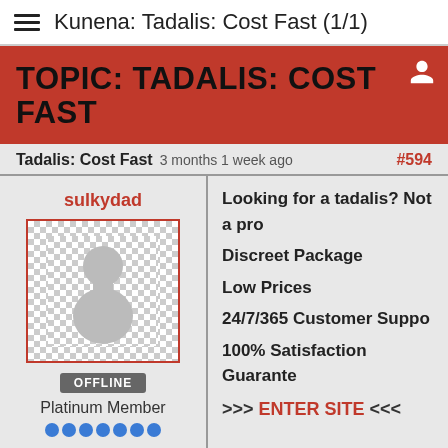Kunena: Tadalis: Cost Fast (1/1)
TOPIC: TADALIS: COST FAST
Tadalis: Cost Fast 3 months 1 week ago #594
sulkydad
[Figure (illustration): Default user avatar placeholder with chess pawn silhouette on checkered background]
OFFLINE
Platinum Member
Posts: 838
Karma: 0
Looking for a tadalis? Not a pro
Discreet Package
Low Prices
24/7/365 Customer Suppo
100% Satisfaction Guarante
>>> ENTER SITE <<<